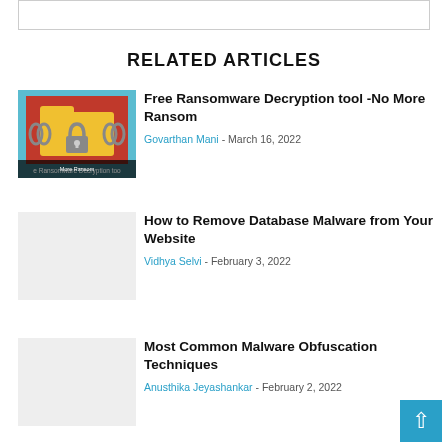[Figure (screenshot): Top rectangular box/frame element at the top of the page]
RELATED ARTICLES
[Figure (illustration): Ransomware decryption tool thumbnail: red background with yellow folder icon wrapped in chains and a padlock, text 'e Ransomware Decryption too More Ransom']
Free Ransomware Decryption tool -No More Ransom
Govarthan Mani - March 16, 2022
How to Remove Database Malware from Your Website
Vidhya Selvi - February 3, 2022
Most Common Malware Obfuscation Techniques
Anusthika Jeyashankar - February 2, 2022